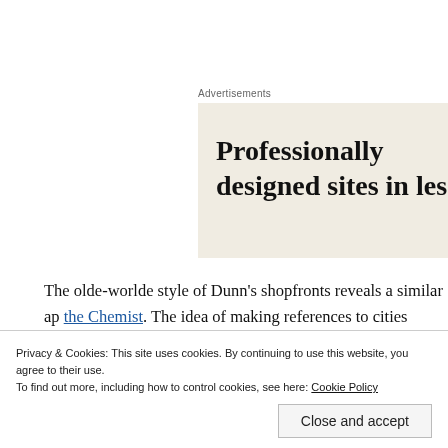Advertisements
[Figure (other): Advertisement box with text 'Professionally designed sites in les' on beige background]
The olde-worlde style of Dunn's shopfronts reveals a similar ap the Chemist. The idea of making references to cities where Dunn its national reach – can be compared with Burton's more moder since Dunn's was also a men's outfitters this might be viewed as other branches on shopfronts was common amongst multiples in
Privacy & Cookies: This site uses cookies. By continuing to use this website, you agree to their use.
To find out more, including how to control cookies, see here: Cookie Policy